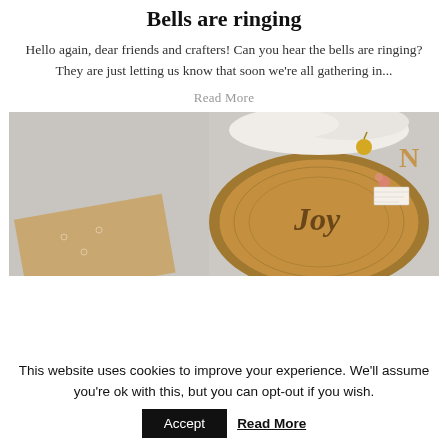Bells are ringing
Hello again, dear friends and crafters! Can you hear the bells are ringing? They are just letting us know that soon we're all gathering in...
Read More
[Figure (photo): Christmas crafts photo showing a 'Joy' wooden sign on a wood slice with fur trim and small ornaments, alongside kraft paper with snowflake designs]
This website uses cookies to improve your experience. We'll assume you're ok with this, but you can opt-out if you wish. Accept Read More